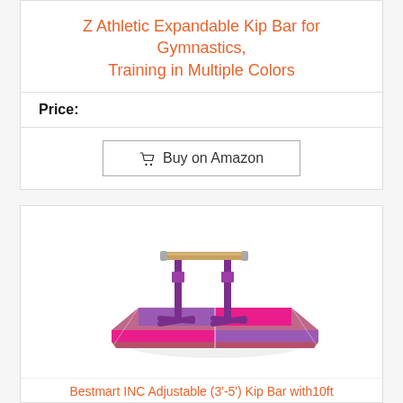Z Athletic Expandable Kip Bar for Gymnastics, Training in Multiple Colors
Price:
[Figure (other): Button labeled 'Buy on Amazon' with a shopping cart icon, inside a bordered rectangle]
[Figure (photo): Product photo of a purple gymnastics kip bar with an adjustable horizontal bar, sitting on a pink and purple folding mat]
Bestmart INC Adjustable (3'-5') Kip Bar with10ft